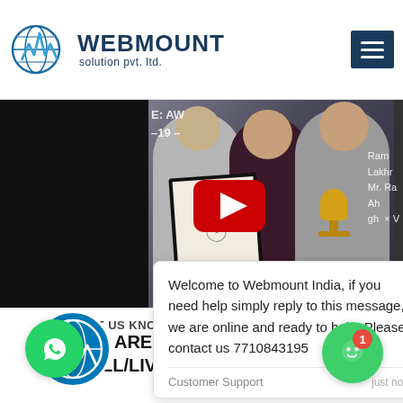[Figure (logo): Webmount solution pvt. ltd. logo with globe and mountain/heartbeat icon in blue]
[Figure (screenshot): YouTube video thumbnail showing award ceremony with people holding certificate and trophy, YouTube play button overlay, and text overlays including Ram, Lakhr, Mr. Ra, Ah, gh]
Welcome to Webmount India, if you need help simply reply to this message, we are online and ready to help. Please contact us 7710843195
Customer Support just now
LET US KNOW YOUR REQUIREMENTS! WE ARE AVAILABLE ON CALL/LIVE CHAT/EMAIL/SMS